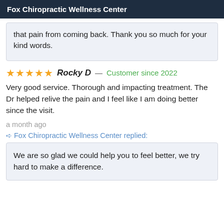Fox Chiropractic Wellness Center
that pain from coming back. Thank you so much for your kind words.
★★★★★ Rocky D — Customer since 2022
Very good service. Thorough and impacting treatment. The Dr helped relive the pain and I feel like I am doing better since the visit.
a month ago
Fox Chiropractic Wellness Center replied:
We are so glad we could help you to feel better, we try hard to make a difference.